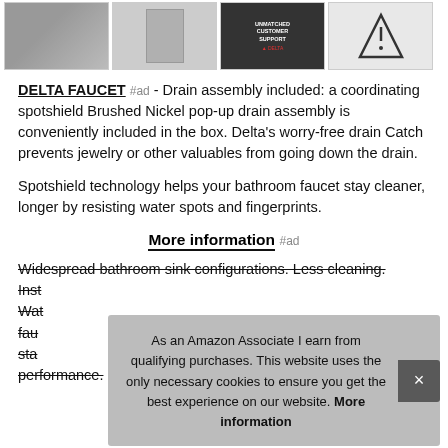[Figure (photo): Row of four product thumbnail images for Delta faucet products in bordered boxes]
DELTA FAUCET #ad - Drain assembly included: a coordinating spotshield Brushed Nickel pop-up drain assembly is conveniently included in the box. Delta's worry-free drain Catch prevents jewelry or other valuables from going down the drain.
Spotshield technology helps your bathroom faucet stay cleaner, longer by resisting water spots and fingerprints.
More information #ad
Widespread bathroom sink configurations. Less cleaning. Inst... Wat... fauc... sta... performance.
As an Amazon Associate I earn from qualifying purchases. This website uses the only necessary cookies to ensure you get the best experience on our website. More information